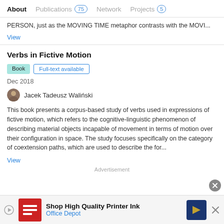About  Publications 75  Network  Projects 5
PERSON, just as the MOVING TIME metaphor contrasts with the MOVI...
View
Verbs in Fictive Motion
Book  Full-text available
Dec 2018
Jacek Tadeusz Waliński
This book presents a corpus-based study of verbs used in expressions of fictive motion, which refers to the cognitive-linguistic phenomenon of describing material objects incapable of movement in terms of motion over their configuration in space. The study focuses specifically on the category of coextension paths, which are used to describe the for...
View
Advertisement
Shop High Quality Printer Ink  Office Depot